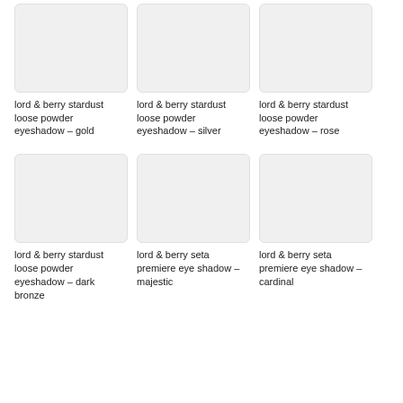[Figure (photo): Product image placeholder for lord & berry stardust loose powder eyeshadow – gold]
lord & berry stardust loose powder eyeshadow – gold
[Figure (photo): Product image placeholder for lord & berry stardust loose powder eyeshadow – silver]
lord & berry stardust loose powder eyeshadow – silver
[Figure (photo): Product image placeholder for lord & berry stardust loose powder eyeshadow – rose]
lord & berry stardust loose powder eyeshadow – rose
[Figure (photo): Product image placeholder for lord & berry stardust loose powder eyeshadow – dark bronze]
lord & berry stardust loose powder eyeshadow – dark bronze
[Figure (photo): Product image placeholder for lord & berry seta premiere eye shadow – majestic]
lord & berry seta premiere eye shadow – majestic
[Figure (photo): Product image placeholder for lord & berry seta premiere eye shadow – cardinal]
lord & berry seta premiere eye shadow – cardinal